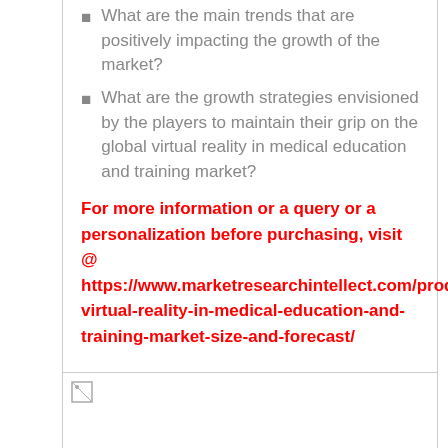What are the main trends that are positively impacting the growth of the market?
What are the growth strategies envisioned by the players to maintain their grip on the global virtual reality in medical education and training market?
For more information or a query or a personalization before purchasing, visit @ https://www.marketresearchintellect.com/product/global-virtual-reality-in-medical-education-and-training-market-size-and-forecast/
[Figure (other): Broken image placeholder at the bottom of the page]